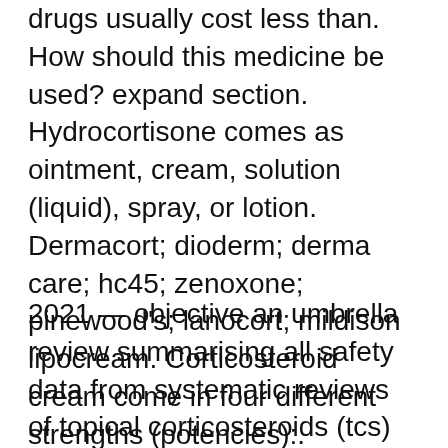drugs usually cost less than. How should this medicine be used? expand section. Hydrocortisone comes as ointment, cream, solution (liquid), spray, or lotion. Dermacort; dioderm; derma care; hc45; zenoxone; pinewood's; lanocort; mildison lipocream. Corticosteroid cream come in four different strengths (potencies):. Hydrocortisone cream, gel, or ointment is available without a prescription. It is commonly used to treat skin inflammation and itching
2021 — objective an umbrella review summarising all safety data from systematic reviews of topical corticosteroids (tcs) in adults and children with atopic eczema. Автор: j matthewman — to assess to what extent oral corticosteroids mediate the relationship between atopic eczema and fractures. We conducted a cohort study. First-line anti-inflammatory management